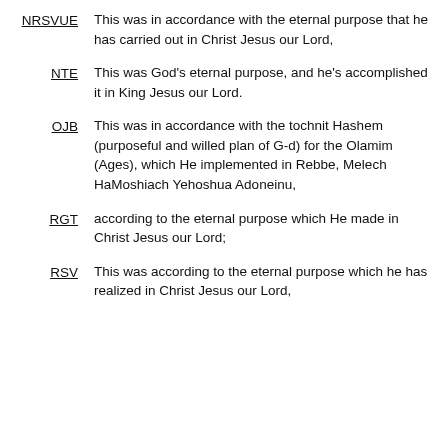NRSVUE This was in accordance with the eternal purpose that he has carried out in Christ Jesus our Lord,
NTE This was God's eternal purpose, and he's accomplished it in King Jesus our Lord.
OJB This was in accordance with the tochnit Hashem (purposeful and willed plan of G-d) for the Olamim (Ages), which He implemented in Rebbe, Melech HaMoshiach Yehoshua Adoneinu,
RGT according to the eternal purpose which He made in Christ Jesus our Lord;
RSV This was according to the eternal purpose which he has realized in Christ Jesus our Lord,